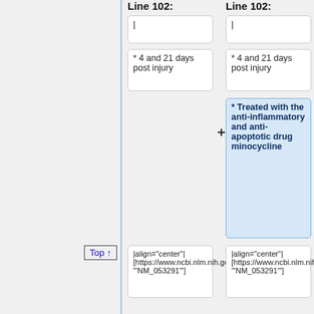Line 102:
Line 102:
|
|
* 4 and 21 days post injury
* 4 and 21 days post injury
* Treated with the anti-inflammatory and anti-apoptotic drug minocycline
|align="center"| [https://www.ncbi.nlm.nih.gov/nuccore/NM_053291 '"NM_053291"']
|align="center"| [https://www.ncbi.nlm.nih.gov/nuccore/NM_053291 '"NM_053291"']
|nowrap style="font-size:9pt"|
|nowrap style="font-size:9pt"|
Line 114:
Line 115:
Top ↑